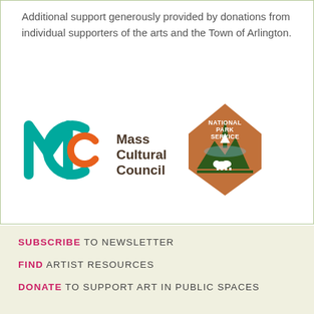Additional support generously provided by donations from individual supporters of the arts and the Town of Arlington.
[Figure (logo): Mass Cultural Council logo (teal M and orange C with 'Mass Cultural Council' text) and National Park Service arrowhead logo side by side]
SUBSCRIBE TO NEWSLETTER
FIND ARTIST RESOURCES
DONATE TO SUPPORT ART IN PUBLIC SPACES